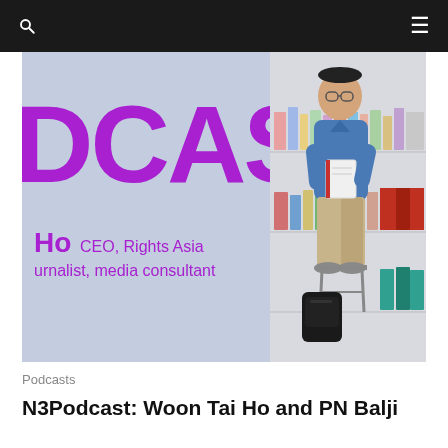Navigation bar with search and menu icons
[Figure (photo): Podcast banner image with light purple/lavender background. Large purple text 'DCAST' partially visible on left. Below it shows 'Ho CEO, Rights Asia' and 'urnalist, media consultant' in purple. On the right side, a man wearing glasses and a blue denim shirt sits on a stool holding a book, with a bookshelf behind him filled with books and magazines.]
Podcasts
N3Podcast: Woon Tai Ho and PN Balji